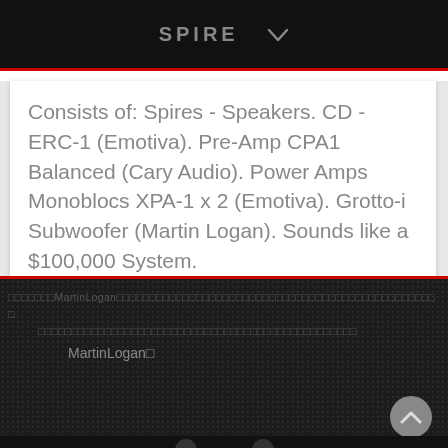SPIRE
Consists of: Spires - Speakers. CD - ERC-1 (Emotiva). Pre-Amp CPA1 Balanced (Cary Audio). Power Amps Monoblocs XPA-1 x 2 (Emotiva). Grotto-i Subwoofer (Martin Logan). Sounds like a $100,000 System.
□□□□□□□MartinLogan□□□□□□□□□□□□□□□□□□□□□□□□□□□□□□□□□□□□□□□□□□□□□□□□□□□□□□□□□□□□□□□□□□□□□□□□□□□□□□□□□□□□□□□□□□□□□□□□□□ MartinLogan□